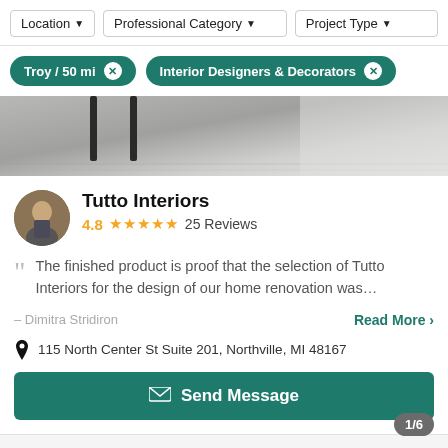[Figure (screenshot): Filter bar with Location, Professional Category, and Project Type dropdown buttons]
Troy / 50 mi ×
Interior Designers & Decorators ×
[Figure (photo): Hero image showing interior furniture — dark chair legs on marble/grey floor]
Tutto Interiors
4.8 ★★★★★ 25 Reviews
The finished product is proof that the selection of Tutto Interiors for the design of our home renovation was…
– Dimitra Stridiron
Read More >
115 North Center St Suite 201, Northville, MI 48167
Send Message